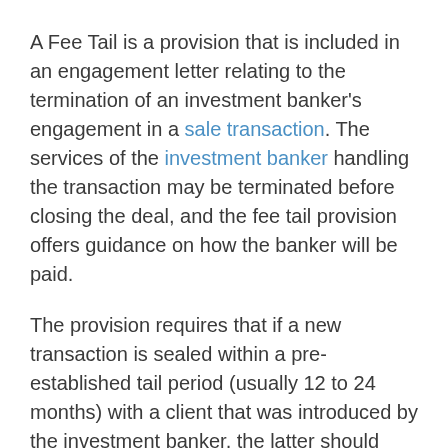A Fee Tail is a provision that is included in an engagement letter relating to the termination of an investment banker's engagement in a sale transaction. The services of the investment banker handling the transaction may be terminated before closing the deal, and the fee tail provision offers guidance on how the banker will be paid.
The provision requires that if a new transaction is sealed within a pre-established tail period (usually 12 to 24 months) with a client that was introduced by the investment banker, the latter should receive the original fee that was agreed upon during the engagement.